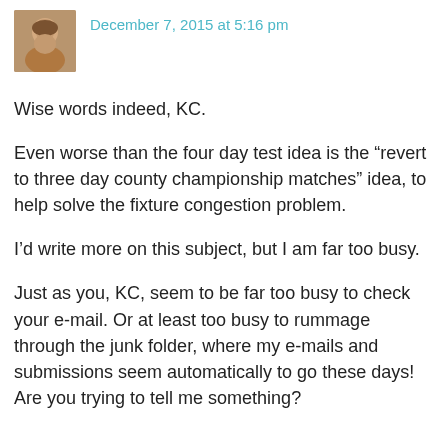[Figure (photo): Avatar/profile photo of a person, brown tones]
December 7, 2015 at 5:16 pm
Wise words indeed, KC.
Even worse than the four day test idea is the “revert to three day county championship matches” idea, to help solve the fixture congestion problem.
I’d write more on this subject, but I am far too busy.
Just as you, KC, seem to be far too busy to check your e-mail. Or at least too busy to rummage through the junk folder, where my e-mails and submissions seem automatically to go these days! Are you trying to tell me something?